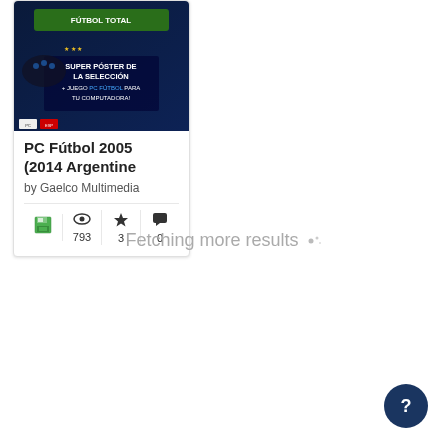[Figure (screenshot): PC Fútbol 2005 Argentine edition game cover showing a player and promotional text in Spanish]
PC Fútbol 2005 (2014 Argentine
by Gaelco Multimedia
793 views, 3 favorites, 0 comments
Fetching more results
[Figure (other): Help button - circular dark blue button with question mark]